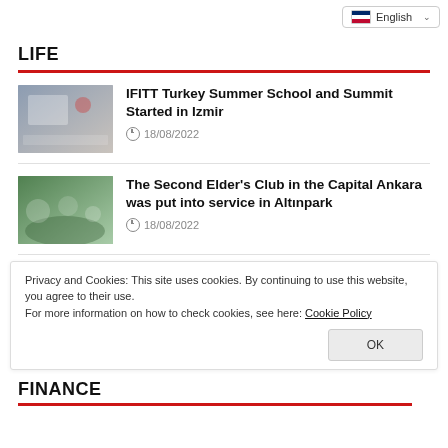English
LIFE
IFITT Turkey Summer School and Summit Started in Izmir — 18/08/2022
The Second Elder's Club in the Capital Ankara was put into service in Altınpark — 18/08/2022
Privacy and Cookies: This site uses cookies. By continuing to use this website, you agree to their use.
For more information on how to check cookies, see here: Cookie Policy
FINANCE